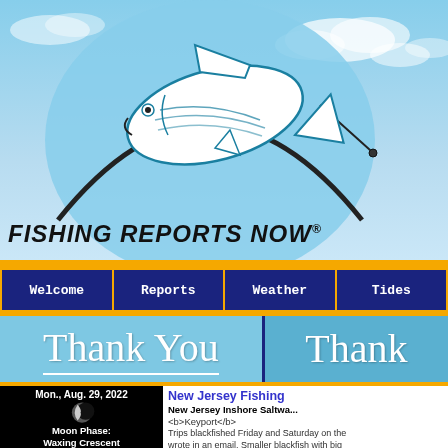[Figure (logo): Fishing Reports Now logo with striped bass fish over a semicircular arc, with light blue sky background]
FISHING REPORTS NOW®
[Figure (screenshot): Navigation bar with Welcome, Reports, Weather, Tides menu items in dark blue on gold background]
[Figure (screenshot): Thank You banner in cursive white text on light blue panels]
[Figure (photo): Moon phase image showing Waxing Crescent on black background, dated Mon., Aug. 29, 2022]
New Jersey Fishing
New Jersey Inshore Saltwater
<b>Keyport</b>
Trips blackfished Friday and Saturday on the wrote in an email. Smaller blackfish with big very nice day." he wrote. Talent matters in b